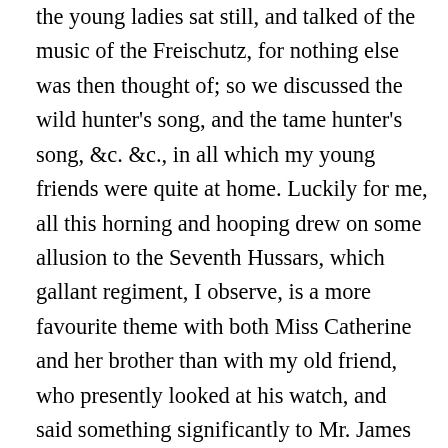the young ladies sat still, and talked of the music of the Freischutz, for nothing else was then thought of; so we discussed the wild hunter's song, and the tame hunter's song, &c. &c., in all which my young friends were quite at home. Luckily for me, all this horning and hooping drew on some allusion to the Seventh Hussars, which gallant regiment, I observe, is a more favourite theme with both Miss Catherine and her brother than with my old friend, who presently looked at his watch, and said something significantly to Mr. James about office hours. The youth got up with the ease of a youngster that would be thought a man of fashion rather than of business, and endeavoured, with some success, to walk out of the room, as if the locomotion was entirely voluntary; Miss Catherine and her sisters left us at the same time, and now